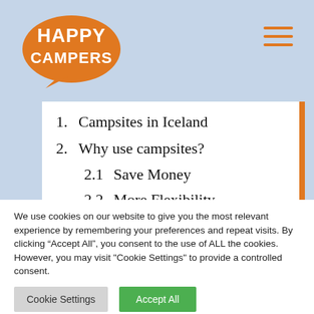[Figure (logo): Happy Campers logo: orange speech bubble with white bold text 'HAPPY CAMPERS']
1. Campsites in Iceland
2. Why use campsites?
2.1 Save Money
2.2 More Flexibility
2.3 Experience Nature
We use cookies on our website to give you the most relevant experience by remembering your preferences and repeat visits. By clicking “Accept All”, you consent to the use of ALL the cookies. However, you may visit "Cookie Settings" to provide a controlled consent.